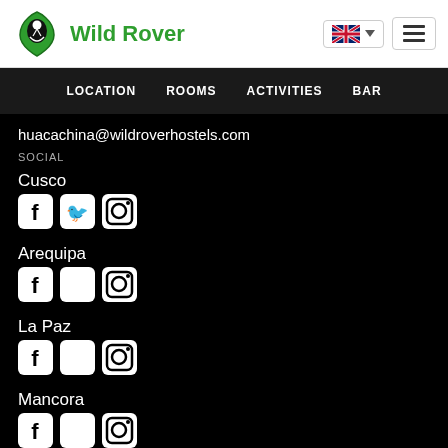[Figure (logo): Wild Rover logo — green shield with silhouette, green text 'Wild Rover']
LOCATION   ROOMS   ACTIVITIES   BAR
huacachina@wildroverhostels.com
SOCIAL
Cusco
[Figure (infographic): Facebook, Twitter, Instagram icons for Cusco]
Arequipa
[Figure (infographic): Facebook, Twitter, Instagram icons for Arequipa]
La Paz
[Figure (infographic): Facebook, Twitter, Instagram icons for La Paz]
Mancora
[Figure (infographic): Facebook, Twitter, Instagram icons for Mancora]
Huacachina
[Figure (infographic): Facebook, Twitter, Instagram icons for Huacachina (partially visible)]